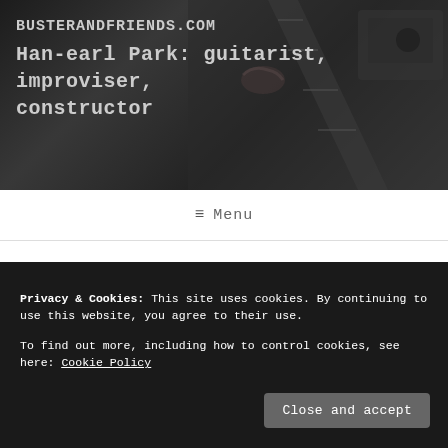BUSTERANDFRIENDS.COM
Han-earl Park: guitarist, improviser, constructor
≡ Menu
Tag: John Pietaro
JANUARY 29, 2019
A jangling, twisting uneasiness, and
Privacy & Cookies: This site uses cookies. By continuing to use this website, you agree to their use.
To find out more, including how to control cookies, see here: Cookie Policy
Close and accept